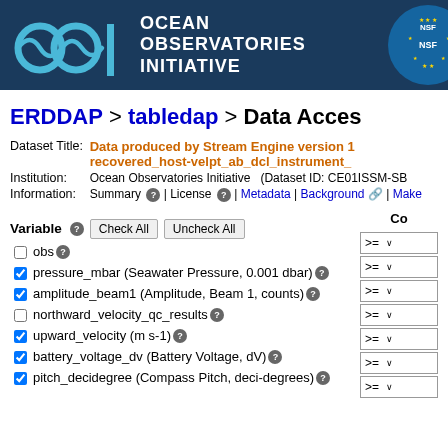[Figure (logo): Ocean Observatories Initiative (OOI) logo with teal wave/infinity symbol on dark navy background, with NSF logo partially visible on right]
ERDDAP > tabledap > Data Access
Dataset Title: Data produced by Stream Engine version 1... recovered_host-velpt_ab_dcl_instrument_...
Institution: Ocean Observatories Initiative  (Dataset ID: CE01ISSM-SB...)
Information: Summary | License | Metadata | Background | Make...
Variable  Check All  Uncheck All
obs
pressure_mbar (Seawater Pressure, 0.001 dbar)
amplitude_beam1 (Amplitude, Beam 1, counts)
northward_velocity_qc_results
upward_velocity (m s-1)
battery_voltage_dv (Battery Voltage, dV)
pitch_decidegree (Compass Pitch, deci-degrees)